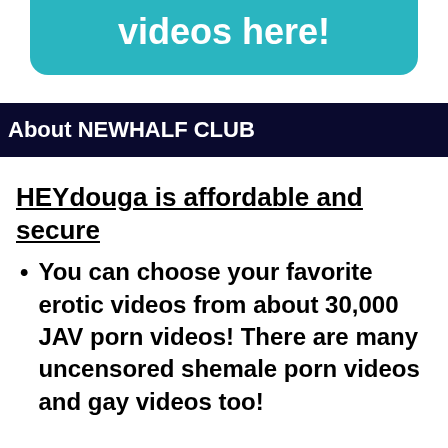videos here!
About NEWHALF CLUB
HEYdouga is affordable and secure
You can choose your favorite erotic videos from about 30,000 JAV porn videos! There are many uncensored shemale porn videos and gay videos too!